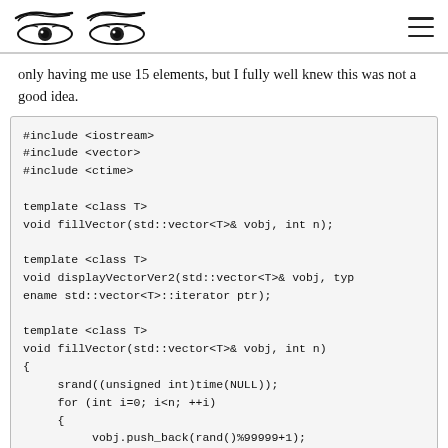[Logo: two eye illustrations] [Hamburger menu icon]
only having me use 15 elements, but I fully well knew this was not a good idea.
[Figure (screenshot): C++ code block showing #include directives, template declarations for fillVector and displayVectorVer2, and the beginning of the fillVector function definition with srand and for loop.]